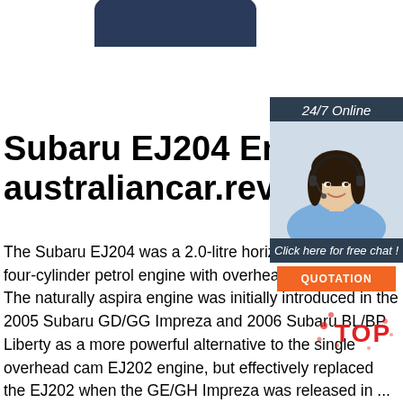[Figure (photo): Partial view of dark blue car roof, cropped at top of page]
Subaru EJ204 Engine - australiancar.reviews
[Figure (infographic): 24/7 Online chat widget sidebar with woman wearing headset, 'Click here for free chat!' text, and orange QUOTATION button]
The Subaru EJ204 was a 2.0-litre horizontally-opposed (or 'boxer') four-cylinder petrol engine with dual overhead camshafts. The naturally aspirated engine was initially introduced in the 2005 Subaru GD/GG Impreza and 2006 Subaru BL/BP Liberty as a more powerful alternative to the single overhead cam EJ202 engine, but effectively replaced the EJ202 when the GE/GH Impreza was released in ...